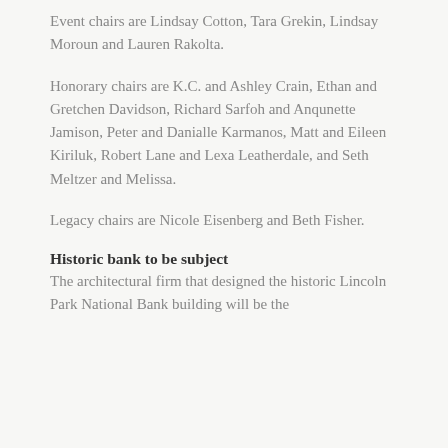Event chairs are Lindsay Cotton, Tara Grekin, Lindsay Moroun and Lauren Rakolta.
Honorary chairs are K.C. and Ashley Crain, Ethan and Gretchen Davidson, Richard Sarfoh and Anqunette Jamison, Peter and Danialle Karmanos, Matt and Eileen Kiriluk, Robert Lane and Lexa Leatherdale, and Seth Meltzer and Melissa.
Legacy chairs are Nicole Eisenberg and Beth Fisher.
Historic bank to be subject
The architectural firm that designed the historic Lincoln Park National Bank building will be the